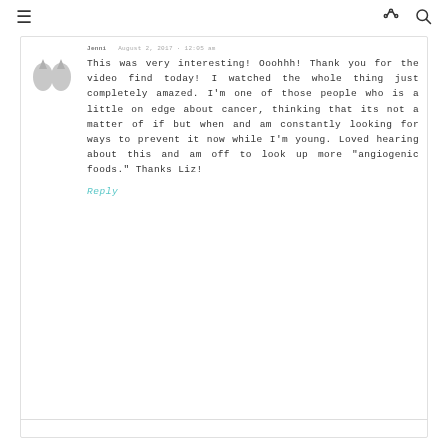≡   < 🔍
Jenni · August 2, 2017 · 12:05 am
This was very interesting! Ooohhh! Thank you for the video find today! I watched the whole thing just completely amazed. I'm one of those people who is a little on edge about cancer, thinking that its not a matter of if but when and am constantly looking for ways to prevent it now while I'm young. Loved hearing about this and am off to look up more "angiogenic foods." Thanks Liz!
Reply